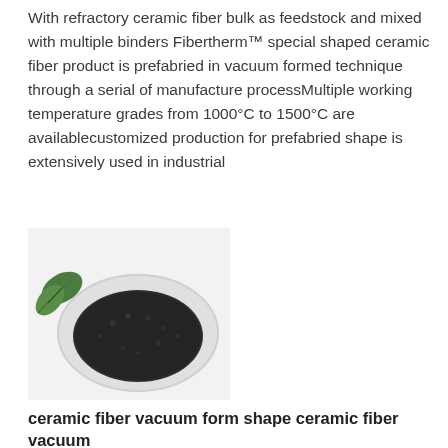With refractory ceramic fiber bulk as feedstock and mixed with multiple binders Fibertherm™ special shaped ceramic fiber product is prefabried in vacuum formed technique through a serial of manufacture processMultiple working temperature grades from 1000°C to 1500°C are availablecustomized production for prefabried shape is extensively used in industrial
[Figure (photo): A white petri dish or bowl containing dark granular material (ceramic fiber bulk), with a green leaf visible at the top-left corner, photographed on a white background.]
ceramic fiber vacuum form shape ceramic fiber vacuum
Alibaba offers 1789 ceramic fiber vacuum form shape products A wide variety of ceramic fiber